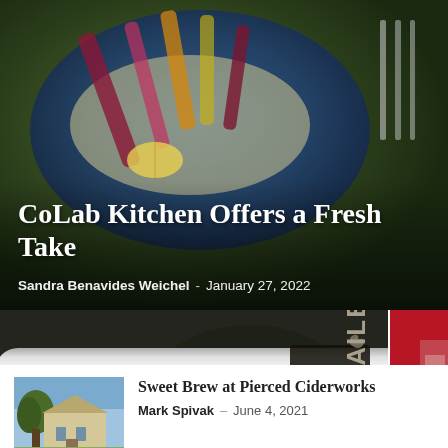[Figure (photo): Hero image: food in a blue bowl with colorful vegetables, viewed from above]
CoLab Kitchen Offers a Fresh Take
Sandra Benavides Weichel - January 27, 2022
[Figure (photo): Stainless steel brewery/bar pipes and equipment with Sailer branding visible]
Hail the Ale
[Figure (photo): Red interior restaurant/bar setting, partially cropped - Castronovo]
Castronovo
[Figure (photo): Small stone/stucco building with tree in front, blue sky]
Sweet Brew at Pierced Ciderworks
Mark Spivak - June 4, 2021